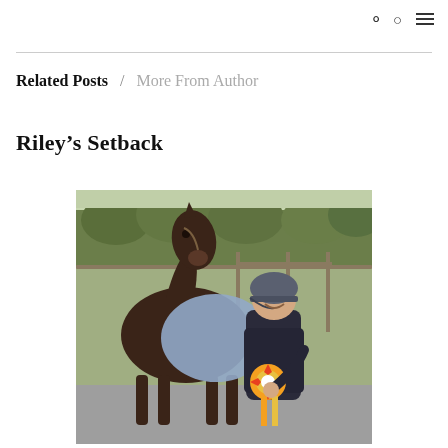Related Posts / More From Author
Riley's Setback
[Figure (photo): A person wearing a blue riding helmet and dark equestrian jacket stands beside a dark brown horse, holding a rosette ribbon (orange and white). The horse is wearing a light blue rug/blanket. They are outdoors in what appears to be a paddock or stable area with green grass, wooden fencing, and trees in the background.]